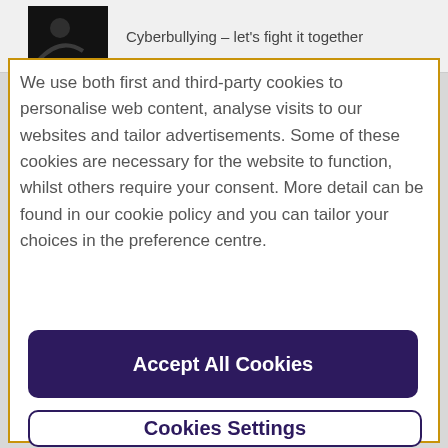[Figure (screenshot): Thumbnail image of a person with text 'Cyberbullying – let's fight it together' next to it, shown in a page header area]
We use both first and third-party cookies to personalise web content, analyse visits to our websites and tailor advertisements. Some of these cookies are necessary for the website to function, whilst others require your consent. More detail can be found in our cookie policy and you can tailor your choices in the preference centre.
Accept All Cookies
Cookies Settings